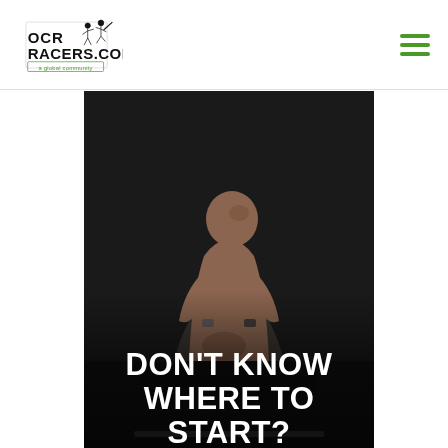OCRRACERS.COM a global community
[Figure (photo): Muscular shirtless man crouching down on a dark floor, looking off to the side, with wristbands on both wrists. Text overlay reads: DON'T KNOW WHERE TO START?]